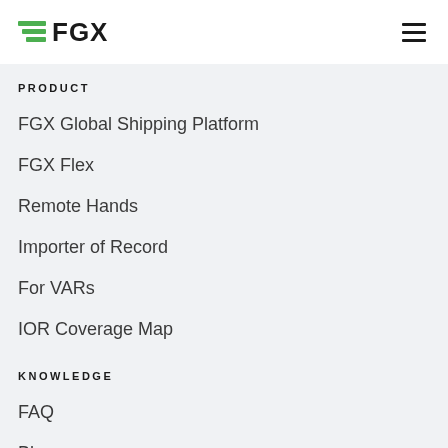FGX
PRODUCT
FGX Global Shipping Platform
FGX Flex
Remote Hands
Importer of Record
For VARs
IOR Coverage Map
KNOWLEDGE
FAQ
Blog